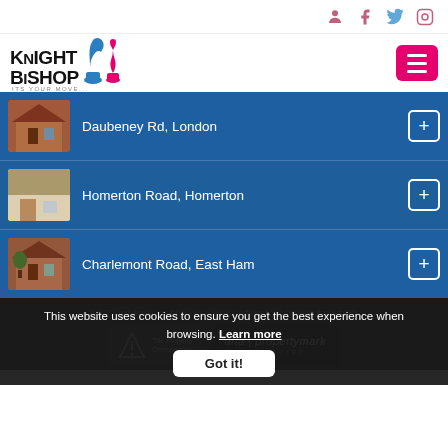Knight Bishop - Its Your Move
[Figure (screenshot): Property listing page for Knight Bishop estate agent showing three properties: Daubeney Rd London, Homerton Road Homerton, Charlemont Road East Ham, with a cookie consent banner overlay]
Daubeney Rd, London
Homerton Road, Homerton
Charlemont Road, East Ham
This website uses cookies to ensure you get the best experience when browsing. Learn more
Got it!
© 2022 Knight Bishop | Legal & Privacy | Sitemap | Software & Web Design by Acquaint CRM
The Property Ombudsman
arla | propertymark PROTECTED